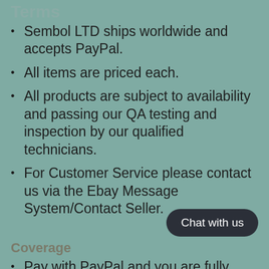Terms
Sembol LTD ships worldwide and accepts PayPal.
All items are priced each.
All products are subject to availability and passing our QA testing and inspection by our qualified technicians.
For Customer Service please contact us via the Ebay Message System/Contact Seller.
Coverage
Pay with PayPal and you are fully